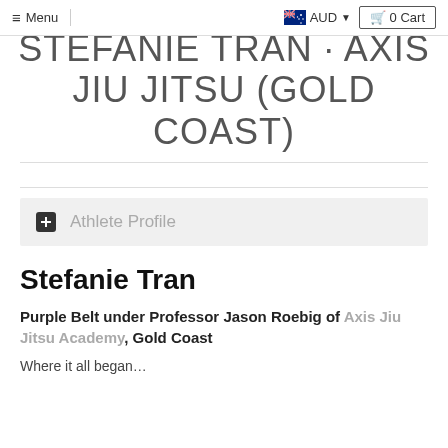≡ Menu   🛒 0 Cart  AUD
STEFANIE TRAN · AXIS JIU JITSU (GOLD COAST)
+ Athlete Profile
Stefanie Tran
Purple Belt under Professor Jason Roebig of Axis Jiu Jitsu Academy, Gold Coast
Where it all began…